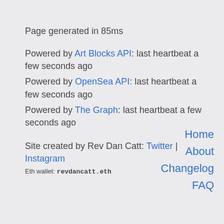Page generated in 85ms
Powered by Art Blocks API: last heartbeat a few seconds ago
Powered by OpenSea API: last heartbeat a few seconds ago
Powered by The Graph: last heartbeat a few seconds ago
Site created by Rev Dan Catt: Twitter | Instagram
Eth wallet: revdancatt.eth
Home
About
Changelog
FAQ